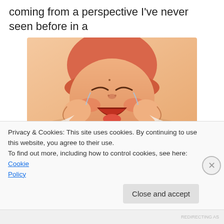coming from a perspective I've never seen before in a
[Figure (illustration): Anime-style illustration of a crying baby wearing an orange/red hat, with fists raised near its face, lying down. The image has warm orange and peach tones.]
Come on, could be cuter...
culture I've yet to experience for myself? Eye opening. I really don't know what more to say about this film. The
Privacy & Cookies: This site uses cookies. By continuing to use this website, you agree to their use.
To find out more, including how to control cookies, see here: Cookie Policy
Close and accept